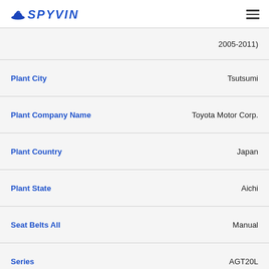SPYVIN
| Field | Value |
| --- | --- |
| (truncated) | 2005-2011) |
| Plant City | Tsutsumi |
| Plant Company Name | Toyota Motor Corp. |
| Plant Country | Japan |
| Plant State | Aichi |
| Seat Belts All | Manual |
| Series | AGT20L |
| TPMS | Direct |
| VIN | JTKJF5C7XC3026402 |